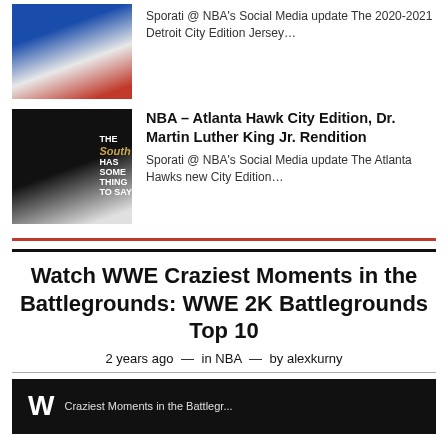[Figure (photo): Detroit NBA jersey in blue and red colors]
Sporati @ NBA's Social Media update The 2020-2021 Detroit City Edition Jersey…
[Figure (photo): Atlanta Hawks MLK #11 black jersey with 'The South Has Something To Say' text]
NBA – Atlanta Hawk City Edition, Dr. Martin Luther King Jr. Rendition
Sporati @ NBA's Social Media update The Atlanta Hawks new City Edition…
Watch WWE Craziest Moments in the Battlegrounds: WWE 2K Battlegrounds Top 10
2 years ago — in NBA — by alexkurny
[Figure (screenshot): WWE video thumbnail showing Craziest Moments in the Battlegrounds]